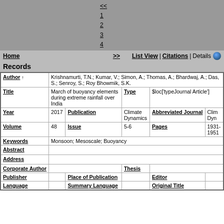<< 1 2 3 4
Home >> List View | Citations | Details
Records
| Field | Value | Field | Value |
| --- | --- | --- | --- |
| Author ↑ | Krishnamurti, T.N.; Kumar, V.; Simon, A.; Thomas, A.; Bhardwaj, A.; Das, S.; Senroy, S.; Roy Bhowmik, S.K. |  |  |
| Title | March of buoyancy elements during extreme rainfall over India | Type | $loc['typeJournal Article'] |
| Year | 2017 | Publication | Climate Dynamics | Abbreviated Journal | Clim Dyn |
| Volume | 48 | Issue | 5-6 | Pages | 1931-1951 |
| Keywords | Monsoon; Mesoscale; Buoyancy |  |  |
| Abstract |  |  |  |
| Address |  |  |  |
| Corporate Author |  |  | Thesis |  |
| Publisher |  | Place of Publication |  | Editor |  |
| Language |  | Summary Language |  | Original Title |  |